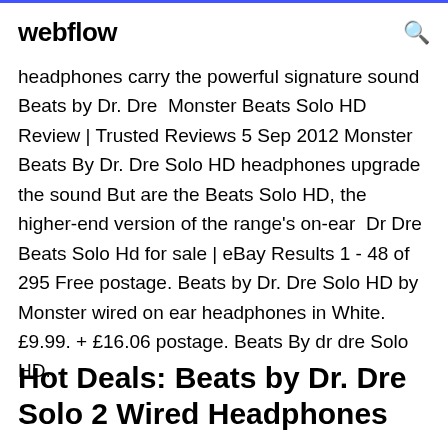webflow
headphones carry the powerful signature sound Beats by Dr. Dre  Monster Beats Solo HD Review | Trusted Reviews 5 Sep 2012 Monster Beats By Dr. Dre Solo HD headphones upgrade the sound But are the Beats Solo HD, the higher-end version of the range's on-ear  Dr Dre Beats Solo Hd for sale | eBay Results 1 - 48 of 295 Free postage. Beats by Dr. Dre Solo HD by Monster wired on ear headphones in White. £9.99. + £16.06 postage. Beats By dr dre Solo HD.
Hot Deals: Beats by Dr. Dre Solo 2 Wired Headphones